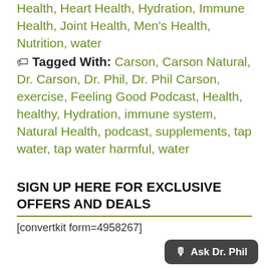Health, Heart Health, Hydration, Immune Health, Joint Health, Men's Health, Nutrition, water
Tagged With: Carson, Carson Natural, Dr. Carson, Dr. Phil, Dr. Phil Carson, exercise, Feeling Good Podcast, Health, healthy, Hydration, immune system, Natural Health, podcast, supplements, tap water, tap water harmful, water
SIGN UP HERE FOR EXCLUSIVE OFFERS AND DEALS
[convertkit form=4958267]
Ask Dr. Phil